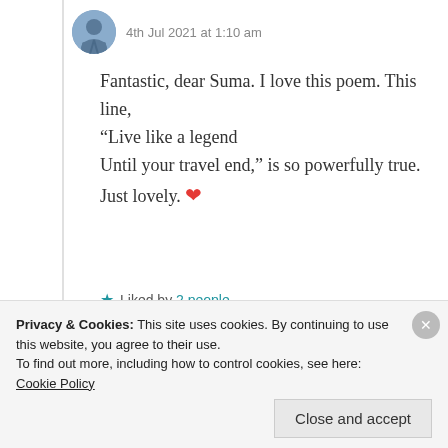4th Jul 2021 at 1:10 am
Fantastic, dear Suma. I love this poem. This line, “Live like a legend
Until your travel end,” is so powerfully true. Just lovely. ❤
★ Liked by 2 people
Log in to Reply
Privacy & Cookies: This site uses cookies. By continuing to use this website, you agree to their use.
To find out more, including how to control cookies, see here: Cookie Policy
Close and accept